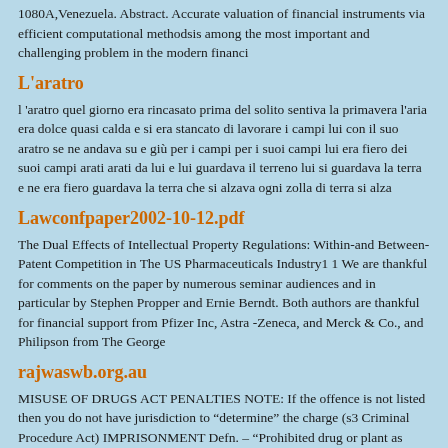1080A,Venezuela. Abstract. Accurate valuation of financial instruments via efficient computational methodsis among the most important and challenging problem in the modern financi
L'aratro
l 'aratro quel giorno era rincasato prima del solito sentiva la primavera l'aria era dolce quasi calda e si era stancato di lavorare i campi lui con il suo aratro se ne andava su e giù per i campi per i suoi campi lui era fiero dei suoi campi arati arati da lui e lui guardava il terreno lui si guardava la terra e ne era fiero guardava la terra che si alzava ogni zolla di terra si alza
Lawconfpaper2002-10-12.pdf
The Dual Effects of Intellectual Property Regulations: Within-and Between-Patent Competition in The US Pharmaceuticals Industry1 1 We are thankful for comments on the paper by numerous seminar audiences and in particular by Stephen Propper and Ernie Berndt. Both authors are thankful for financial support from Pfizer Inc, Astra -Zeneca, and Merck & Co., and Philipson from The George
rajwaswb.org.au
MISUSE OF DRUGS ACT PENALTIES NOTE: If the offence is not listed then you do not have jurisdiction to "determine" the charge (s3 Criminal Procedure Act) IMPRISONMENT Defn. – "Prohibited drug or plant as provided in s4" 5(1)(a)(i) Occupier permits premises to be used for manufacture or preparation of